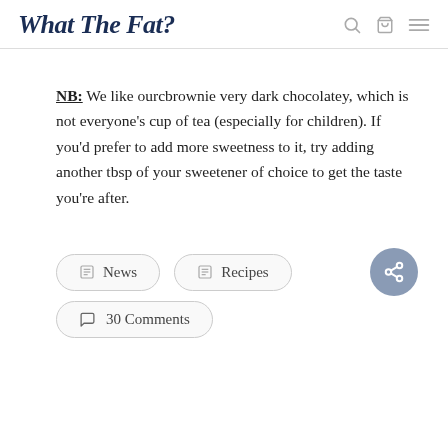What The Fat?
NB: We like ourcbrownie very dark chocolatey, which is not everyone's cup of tea (especially for children). If you'd prefer to add more sweetness to it, try adding another tbsp of your sweetener of choice to get the taste you're after.
News
Recipes
30 Comments